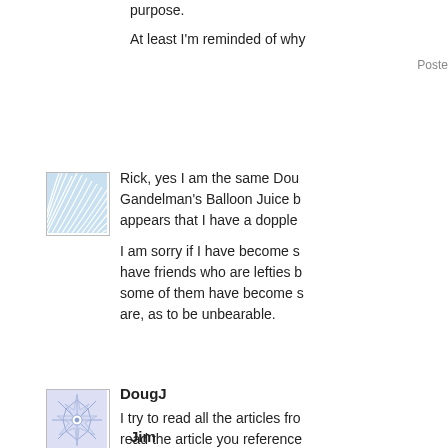purpose.
At least I'm reminded of why
Posted
[Figure (illustration): Avatar icon with fan/shell wave pattern in light blue]
Rick, yes I am the same Dou Gandelman's Balloon Juice b appears that I have a dopple
I am sorry if I have become s have friends who are lefties b some of them have become s are, as to be unbearable.
[Figure (illustration): Avatar icon with geometric star/snowflake pattern in light blue/purple]
DougJ
I try to read all the articles fro read the article you reference interested in any and all infor Wilson will be implicated in s indication that Fitz is headed
Jim